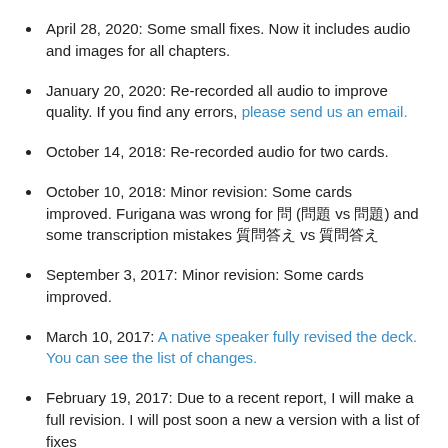April 28, 2020: Some small fixes. Now it includes audio and images for all chapters.
January 20, 2020: Re-recorded all audio to improve quality. If you find any errors, please send us an email.
October 14, 2018: Re-recorded audio for two cards.
October 10, 2018: Minor revision: Some cards improved. Furigana was wrong for 問 (問題 vs 問題) and some transcription mistakes 質問答え vs 質問答え
September 3, 2017: Minor revision: Some cards improved.
March 10, 2017: A native speaker fully revised the deck. You can see the list of changes.
February 19, 2017: Due to a recent report, I will make a full revision. I will post soon a new a version with a list of fixes
Checkout our interview series with successful Japanese l...